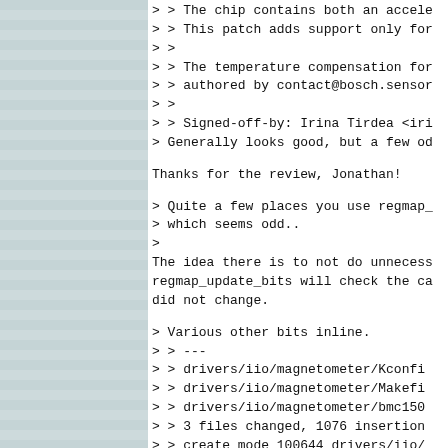> > The chip contains both an accele
> > This patch adds support only for
> >
> > The temperature compensation for
> > authored by contact@bosch.sensor
> >
> > Signed-off-by: Irina Tirdea <iri
> Generally looks good, but a few od

Thanks for the review, Jonathan!

> Quite a few places you use regmap_
> which seems odd..
>
The idea there is to not do unnecess
regmap_update_bits will check the ca
did not change.

> Various other bits inline.
> > ---
> >  drivers/iio/magnetometer/Kconfi
> >  drivers/iio/magnetometer/Makefi
> >  drivers/iio/magnetometer/bmc150
> >  3 files changed, 1076 insertion
> >  create mode 100644 drivers/iio/
> >
> > diff --git a/drivers/iio/magneto
> > index a5d6de7..008baca 100644
> > --- a/drivers/iio/magnetometer/K
> > +++ b/drivers/iio/magnetometer/K
> >  @@ -70,4 +70,10 @@ ... II0, ...